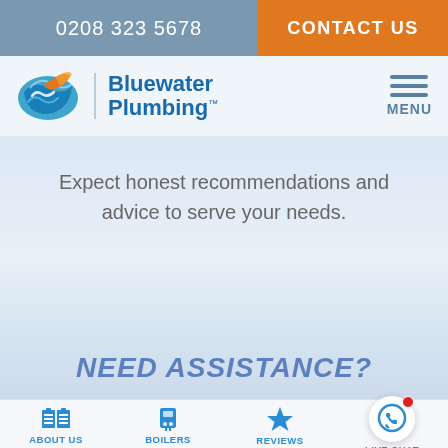0208 323 5678   CONTACT US
[Figure (logo): Bluewater Plumbing logo with wave and fish icon]
Expect honest recommendations and advice to serve your needs.
NEED ASSISTANCE?
ABOUT US   BOILERS   REVIEWS   LIVE CHAT